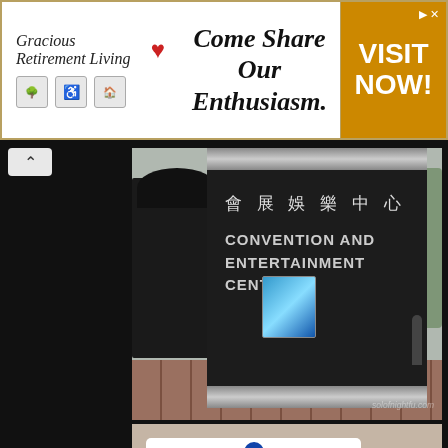[Figure (photo): Advertisement banner for Gracious Retirement Living with tagline 'Come Share Our Enthusiasm.' and a yellow 'VISIT NOW!' call to action button]
[Figure (photo): Photo of a Convention and Entertainment Centre sign in Macau showing Chinese characters 會展娛樂中心 and English text CONVENTION AND ENTERTAINMENT CENTRE on a dark monolith with brick plaza and black lion statue. Watermark: solofnightfu.com]
[Figure (photo): Photo of AJ Hackett Macau Tower bungee jumping boarding pass with name, weight, country (Philpang), date fields visible and BUNGY badge at bottom right]